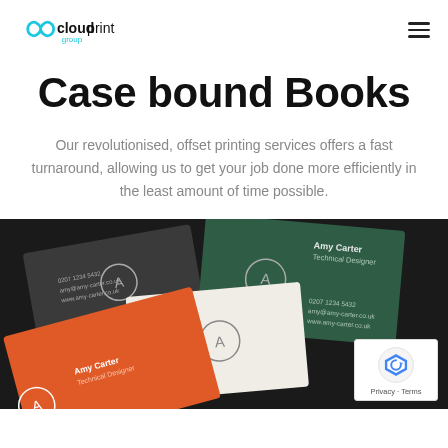cloudprint group
Case bound Books
Our revolutionised, offset printing services offers a fast turnaround, allowing us to get your job done more efficiently in the least amount of time possible.
[Figure (photo): A dark-background photo showing multiple business cards fanned out, including an orange card, a white card, and a dark green card, each featuring 'Amy Carter' contact details and a circular 'A' logo.]